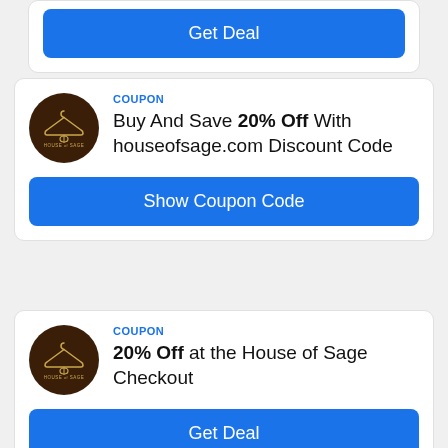Get Deal
COUPON
Buy And Save 20% Off With houseofsage.com Discount Code
Show Coupon Code
COUPON
20% Off at the House of Sage Checkout
Get Deal